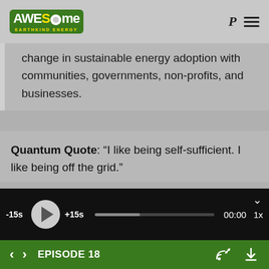AWESOME EARTHKIND ENERGY — navigation bar with logo, Pocket icon, hamburger menu
change in sustainable energy adoption with communities, governments, non-profits, and businesses.
Quantum Quote: “I like being self-sufficient. I like being off the grid.”
Are you someone who aims to be living off the grid and be self-sufficient?
Do you promote a lifestyle that encourages
[Figure (screenshot): Audio player bar: -15s, play button, +15s, progress bar, 00:00 time, 1x speed, chevron collapse button]
EPISODE 18 — with navigation arrows, cast icon, and download icon